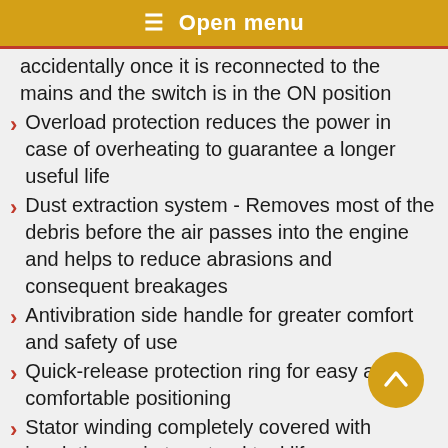☰ Open menu
accidentally once it is reconnected to the mains and the switch is in the ON position
Overload protection reduces the power in case of overheating to guarantee a longer useful life
Dust extraction system - Removes most of the debris before the air passes into the engine and helps to reduce abrasions and consequent breakages
Antivibration side handle for greater comfort and safety of use
Quick-release protection ring for easy and comfortable positioning
Stator winding completely covered with insulating resin to extend tool life
Self-expelling motor brushes protect against